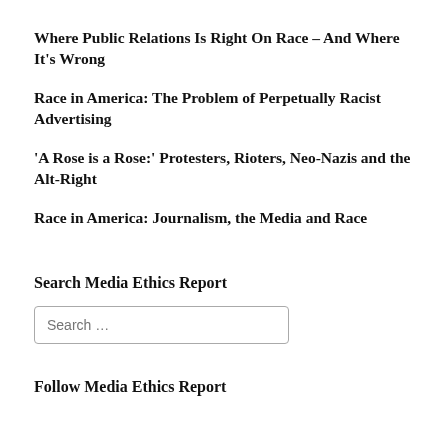Where Public Relations Is Right On Race – And Where It's Wrong
Race in America: The Problem of Perpetually Racist Advertising
'A Rose is a Rose:' Protesters, Rioters, Neo-Nazis and the Alt-Right
Race in America: Journalism, the Media and Race
Search Media Ethics Report
Search …
Follow Media Ethics Report